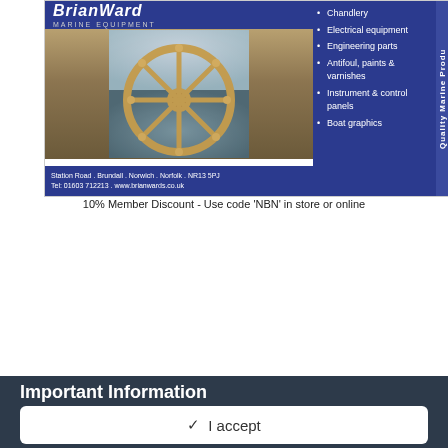[Figure (illustration): Brian Ward Marine Equipment advertisement showing a ship's wheel photo on left and blue panel with bullet points on right. Logo at top, address at bottom left.]
10% Member Discount - Use code 'NBN' in store or online
[Figure (illustration): Cruiser hire advertisement with italic blue text 'Cruiser hire, self catering holidays, day boats & canoes' on left and photo of white motor cruiser on river on right. Blue border rounded rectangle.]
Important Information
For details of our Guidelines, please take a look at the Terms of Use here.
✓  I accept